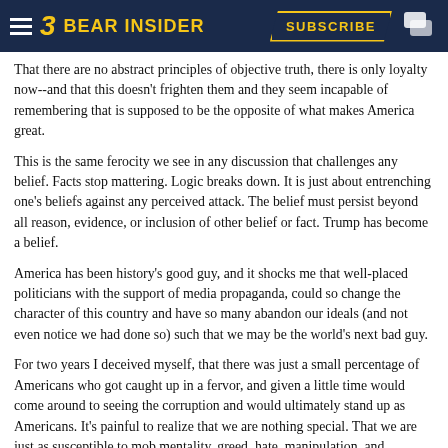BEAR INSIDER — SUBSCRIBE
That there are no abstract principles of objective truth, there is only loyalty now--and that this doesn't frighten them and they seem incapable of remembering that is supposed to be the opposite of what makes America great.
This is the same ferocity we see in any discussion that challenges any belief. Facts stop mattering. Logic breaks down. It is just about entrenching one's beliefs against any perceived attack. The belief must persist beyond all reason, evidence, or inclusion of other belief or fact. Trump has become a belief.
America has been history's good guy, and it shocks me that well-placed politicians with the support of media propaganda, could so change the character of this country and have so many abandon our ideals (and not even notice we had done so) such that we may be the world's next bad guy.
For two years I deceived myself, that there was just a small percentage of Americans who got caught up in a fervor, and given a little time would come around to seeing the corruption and would ultimately stand up as Americans. It's painful to realize that we are nothing special. That we are just as susceptible to mob mentality, greed, hate, manipulation, and authoritarians. It's no longer hyperbole and paranoia to worry that we are headed to oligarchy, dictatorship, and